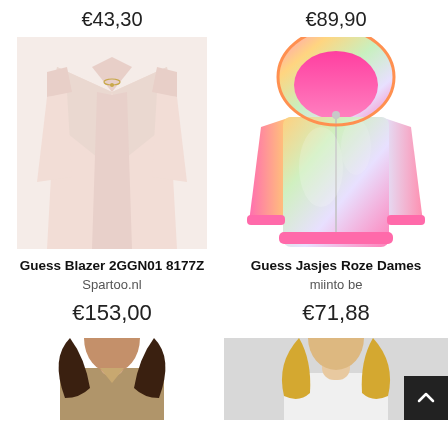€43,30
€89,90
[Figure (photo): Light pink women's blazer with open front and short sleeves, Guess brand tag visible]
[Figure (photo): Holographic iridescent pink hooded zip-up jacket for girls/women with bright pink lining]
Guess Blazer 2GGN01 8177Z
Spartoo.nl
€153,00
Guess Jasjes Roze Dames
miinto be
€71,88
[Figure (photo): Partial view of a dark-haired woman wearing a blazer, cropped at top of image]
[Figure (photo): Partial view of a blonde woman, cropped at top of image, on grey background]